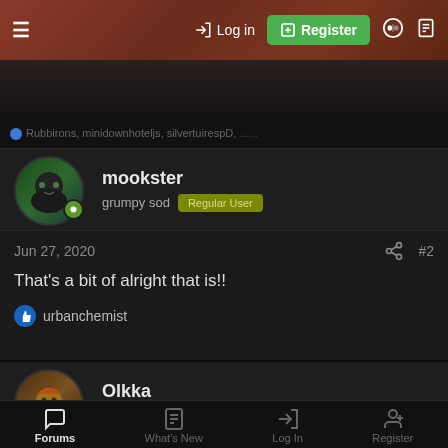Log in | Register
Rubbirons, minidownhoteljs, silvertuirespD, ...
mookster
grumpy sod  Regular User
Jun 27, 2020    #2
That's a bit of alright that is!!
urbanchemist
Olkka
28DL Regular User  Regular User
Forums  What's New  Log In  Register